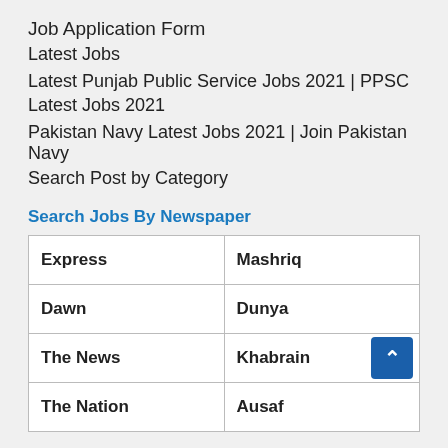Job Application Form
Latest Jobs
Latest Punjab Public Service Jobs 2021 | PPSC Latest Jobs 2021
Pakistan Navy Latest Jobs 2021 | Join Pakistan Navy
Search Post by Category
Search Jobs By Newspaper
| Express | Mashriq |
| Dawn | Dunya |
| The News | Khabrain |
| The Nation | Ausaf |